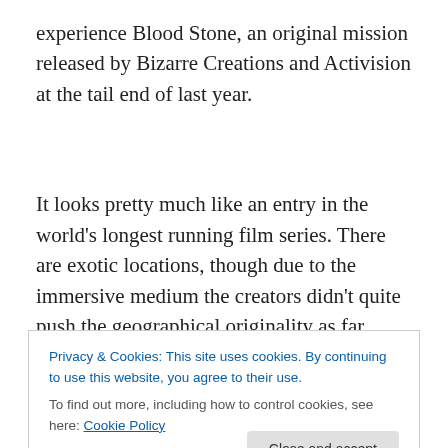experience Blood Stone, an original mission released by Bizarre Creations and Activision at the tail end of last year.
It looks pretty much like an entry in the world's longest running film series. There are exotic locations, though due to the immersive medium the creators didn't quite push the geographical originality as far. Bond travels from Athens to Istanbul, from Monaco to Bangkok, before rounding things
Privacy & Cookies: This site uses cookies. By continuing to use this website, you agree to their use.
To find out more, including how to control cookies, see here: Cookie Policy
pops up as M, though the graphics render her a rather